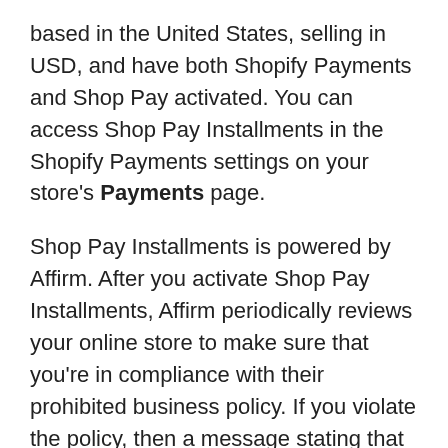based in the United States, selling in USD, and have both Shopify Payments and Shop Pay activated. You can access Shop Pay Installments in the Shopify Payments settings on your store's Payments page.
Shop Pay Installments is powered by Affirm. After you activate Shop Pay Installments, Affirm periodically reviews your online store to make sure that you're in compliance with their prohibited business policy. If you violate the policy, then a message stating that your Shop Pay Installments account is suspended displays in your admin.